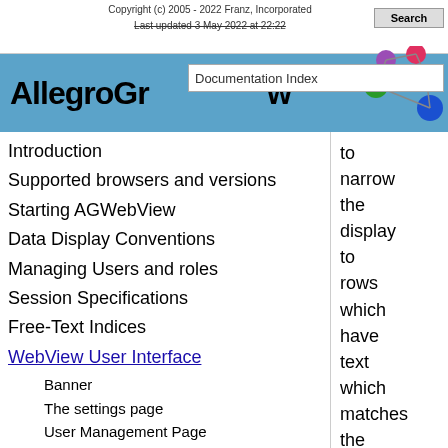Copyright (c) 2005 - 2022 Franz, Incorporated
Last updated 3 May 2022 at 22:22
AllegroGraph Documentation Index
Introduction
Supported browsers and versions
Starting AGWebView
Data Display Conventions
Managing Users and roles
Session Specifications
Free-Text Indices
WebView User Interface
Banner
The settings page
User Management Page
The Requests page
to narrow the display to rows which have text which matches the search text. Clicking